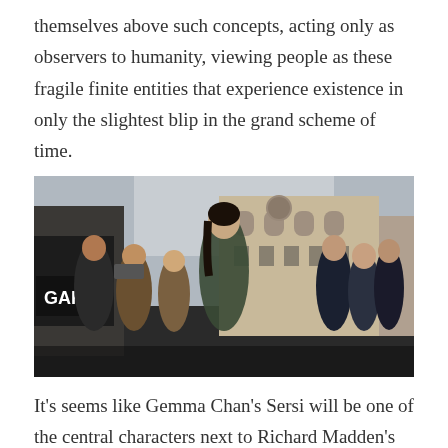themselves above such concepts, acting only as observers to humanity, viewing people as these fragile finite entities that experience existence in only the slightest blip in the grand scheme of time.
[Figure (photo): A woman (Gemma Chan as Sersi) standing in a busy urban street scene with classical European-style buildings and crowds of people in the background. The scene appears to be set in London.]
It's seems like Gemma Chan's Sersi will be one of the central characters next to Richard Madden's Ikaris. This makes sense given that Sersi has typically had a